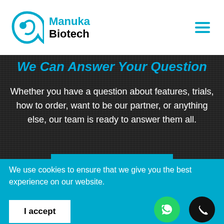Manuka Biotech
We Can Answer Your Question
Whether you have a question about features, trials, how to order, want to be our partner, or anything else, our team is ready to answer them all.
CONTACT US —
[Figure (illustration): Phone handset icon in grey/silver on dark textured background]
We use cookies to ensure that we give you the best experience on our website.
I accept